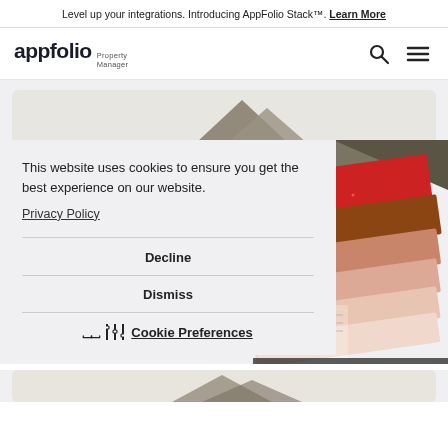Level up your integrations. Introducing AppFolio Stack™. Learn More
[Figure (logo): AppFolio Property Manager logo with search and hamburger menu icons]
[Figure (photo): Partial view of a card with material swatches fanned out — colors include olive/khaki, red glitter, brown, peach/salmon tones, with some line drawings visible]
This website uses cookies to ensure you get the best experience on our website.
Privacy Policy
Decline
Dismiss
Cookie Preferences
[Figure (photo): Partial bottom card showing additional material swatch imagery]